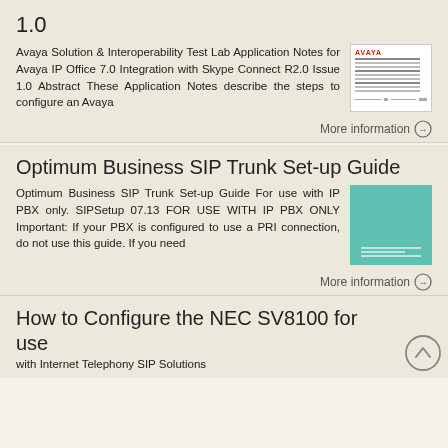1.0
Avaya Solution & Interoperability Test Lab Application Notes for Avaya IP Office 7.0 Integration with Skype Connect R2.0 Issue 1.0 Abstract These Application Notes describe the steps to configure an Avaya
[Figure (other): Thumbnail image of Avaya document cover with Avaya logo and text lines]
More information →
Optimum Business SIP Trunk Set-up Guide
Optimum Business SIP Trunk Set-up Guide For use with IP PBX only. SIPSetup 07.13 FOR USE WITH IP PBX ONLY Important: If your PBX is configured to use a PRI connection, do not use this guide. If you need
[Figure (other): Thumbnail image with teal/green background representing Optimum Business SIP Trunk Set-up Guide cover]
More information →
How to Configure the NEC SV8100 for use with Internet Telephony SIP Solutions